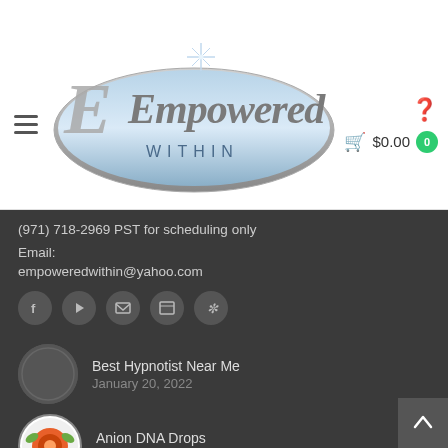[Figure (logo): Empowered Within logo — cursive silver script on a blue oval with a star sparkle above]
(971) 718-2969 PST for scheduling only
Email:
empoweredwithin@yahoo.com
[Figure (infographic): Row of 5 social media icon buttons: Facebook, YouTube, Email, Web, Yelp]
Recent News
Best Hypnotist Near Me
January 20, 2022
Anion DNA Drops
August 19, 2020